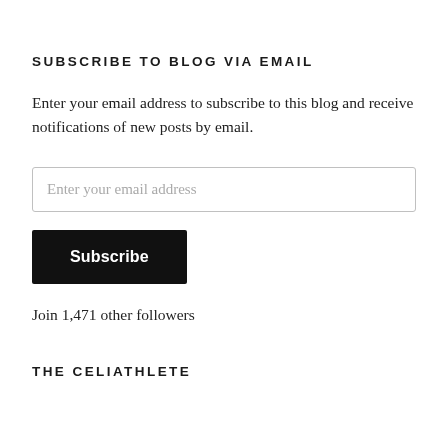SUBSCRIBE TO BLOG VIA EMAIL
Enter your email address to subscribe to this blog and receive notifications of new posts by email.
Enter your email address
Subscribe
Join 1,471 other followers
THE CELIATHLETE